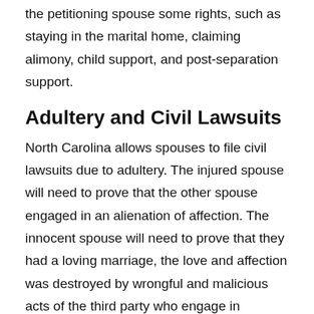the petitioning spouse some rights, such as staying in the marital home, claiming alimony, child support, and post-separation support.
Adultery and Civil Lawsuits
North Carolina allows spouses to file civil lawsuits due to adultery. The injured spouse will need to prove that the other spouse engaged in an alienation of affection. The innocent spouse will need to prove that they had a loving marriage, the love and affection was destroyed by wrongful and malicious acts of the third party who engage in adultery with their spouse.
Contact an Experienced North Carolina Divorce Lawyer Today